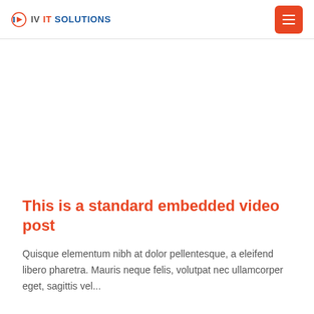IV IT SOLUTIONS
[Figure (other): Blank white video embed placeholder area]
This is a standard embedded video post
Quisque elementum nibh at dolor pellentesque, a eleifend libero pharetra. Mauris neque felis, volutpat nec ullamcorper eget, sagittis vel...